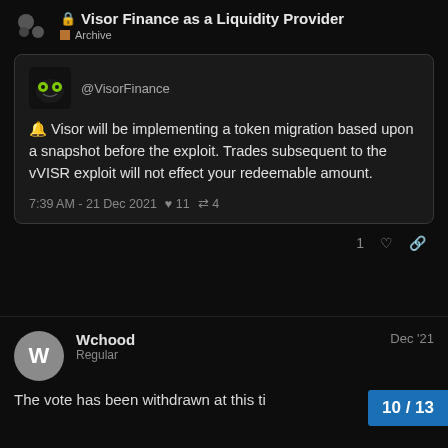🔒 Visor Finance as a Liquidity Provider — Archive
[Figure (screenshot): Embedded tweet from @VisorFinance with green logo avatar. Tweet text: '🔔 Visor will be implementing a token migration based upon a snapshot before the exploit. Trades subsequent to the vVISR exploit will not effect your redeemable amount.' Timestamp: 7:39 AM - 21 Dec 2021. Likes: 11, Retweets: 4.]
1 ♡ 🔗
Wchood Regular — Dec '21 — The vote has been withdrawn at this ti...
10 / 13